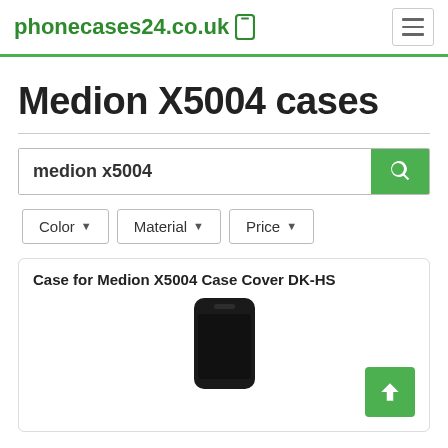phonecases24.co.uk
Medion X5004 cases
medion x5004
Color
Material
Price
Case for Medion X5004 Case Cover DK-HS
[Figure (photo): Black phone case for Medion X5004, shown partially at bottom of card]